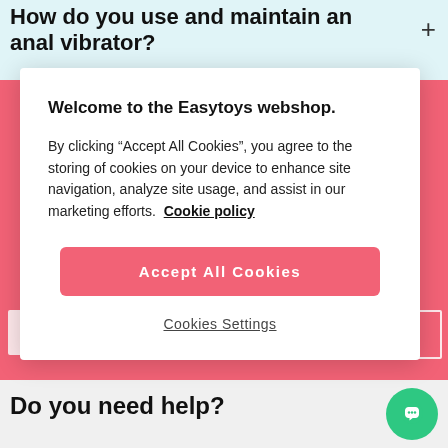How do you use and maintain an anal vibrator?
Welcome to the Easytoys webshop.
By clicking “Accept All Cookies”, you agree to the storing of cookies on your device to enhance site navigation, analyze site usage, and assist in our marketing efforts.  Cookie policy
Accept All Cookies
Cookies Settings
Do you need help?